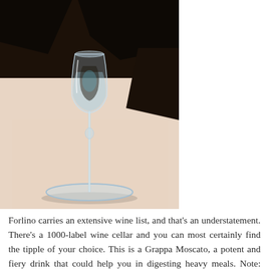[Figure (photo): A tall, slender Grappa glass with a small bulbous bowl on a thin long stem and a flat round base, placed on a white tablecloth in a restaurant setting. The background shows dark and light contrasting shapes, likely a tablecloth pattern.]
Forlino carries an extensive wine list, and that's an understatement. There's a 1000-label wine cellar and you can most certainly find the tipple of your choice. This is a Grappa Moscato, a potent and fiery drink that could help you in digesting heavy meals. Note: drinks are not included in the